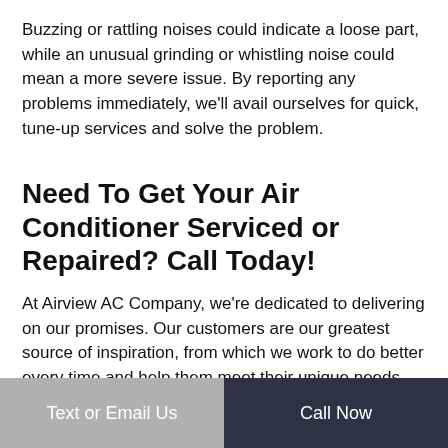Buzzing or rattling noises could indicate a loose part, while an unusual grinding or whistling noise could mean a more severe issue. By reporting any problems immediately, we'll avail ourselves for quick, tune-up services and solve the problem.
Need To Get Your Air Conditioner Serviced or Repaired? Call Today!
At Airview AC Company, we're dedicated to delivering on our promises. Our customers are our greatest source of inspiration, from which we work to do better every time and help them meet their unique needs.
Our goal is to amaze our customers with quality and state-
Text or Email Us | Call Now